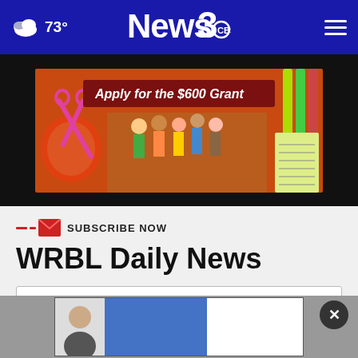73° News3 CBS
[Figure (photo): Advertisement banner: 'Apply for the $600 Grant' with children, school supplies, scissors, apple, pencils.]
SUBSCRIBE NOW
WRBL Daily News
Your email
[Figure (photo): Advertisement card with a person image, blue section, and white section. Close (X) button overlay.]